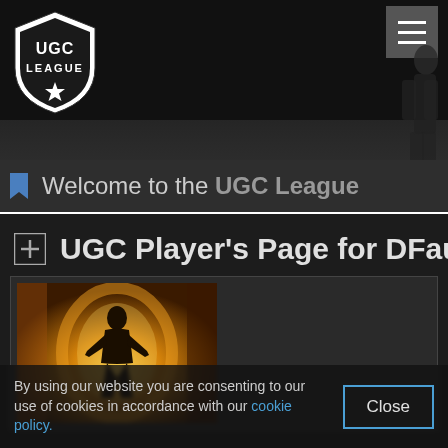[Figure (logo): UGC League shield logo in white and black with star at bottom]
[Figure (other): Hamburger menu button with three horizontal white lines on gray background]
Welcome to the UGC League
UGC Player's Page for DFault
[Figure (photo): Player profile image showing silhouetted figure against golden yellow glowing background]
By using our website you are consenting to our use of cookies in accordance with our cookie policy.